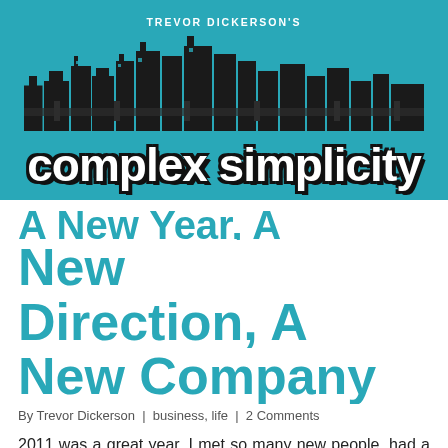[Figure (logo): Trevor Dickerson's Complex Simplicity blog header banner with teal background, city skyline illustration, and script logo text]
A New Year, A New Direction, A New Company
By Trevor Dickerson | business, life | 2 Comments
2011 was a great year. I met so many new people, had a lot of great new experiences and continued to grow my business. I took on some major new clients under RVA MediaWorks and had